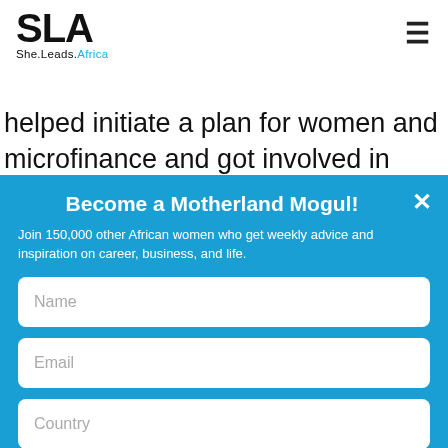SLA She.Leads.Africa
helped initiate a plan for women and microfinance and got involved in many other aspects of the organization.
Become a Motherland Mogul!
Join 150,000 other African women who get weekly advice and inspiration on career, business, and life.